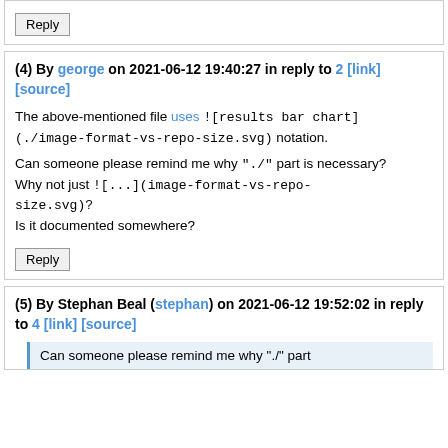Reply
(4) By george on 2021-06-12 19:40:27 in reply to 2 [link] [source]
The above-mentioned file uses ![results bar chart](./image-format-vs-repo-size.svg) notation.

Can someone please remind me why "./" part is necessary? Why not just ![...](image-format-vs-repo-size.svg)?
Is it documented somewhere?
Reply
(5) By Stephan Beal (stephan) on 2021-06-12 19:52:02 in reply to 4 [link] [source]
Can someone please remind me why "./" part